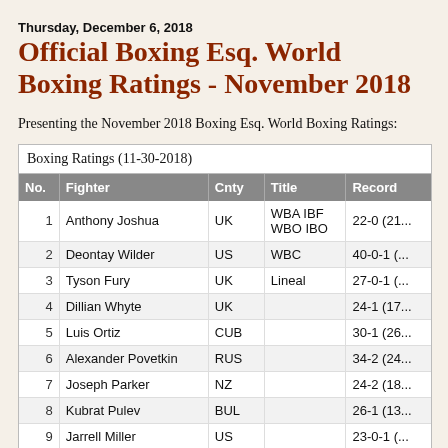Thursday, December 6, 2018
Official Boxing Esq. World Boxing Ratings - November 2018
Presenting the November 2018 Boxing Esq. World Boxing Ratings:
| No. | Fighter | Cnty | Title | Record |
| --- | --- | --- | --- | --- |
| 1 | Anthony Joshua | UK | WBA IBF WBO IBO | 22-0 (21... |
| 2 | Deontay Wilder | US | WBC | 40-0-1 (... |
| 3 | Tyson Fury | UK | Lineal | 27-0-1 (... |
| 4 | Dillian Whyte | UK |  | 24-1 (17... |
| 5 | Luis Ortiz | CUB |  | 30-1 (26... |
| 6 | Alexander Povetkin | RUS |  | 34-2 (24... |
| 7 | Joseph Parker | NZ |  | 24-2 (18... |
| 8 | Kubrat Pulev | BUL |  | 26-1 (13... |
| 9 | Jarrell Miller | US |  | 23-0-1 (... |
| 10 | Adam Kownacki | POL |  | 18-0 (14... |
| 11 | Bryant Jennings | USA |  | 24-2 (14... |
| 12 | Andy Ruiz | US |  | 31-1 (26... |